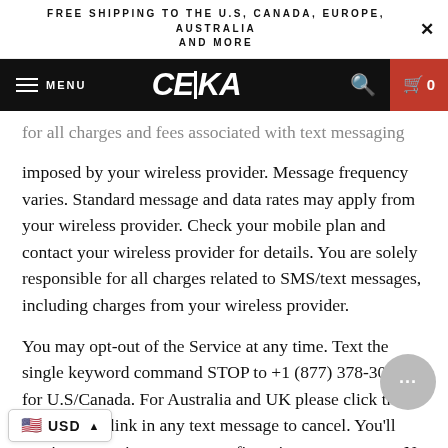FREE SHIPPING TO THE U.S, CANADA, EUROPE, AUSTRALIA AND MORE
[Figure (screenshot): CEIKA e-commerce website navigation bar with menu icon, CEIKA logo, search icon, and cart button showing 0 items on black background]
for all charges and fees associated with text messaging imposed by your wireless provider. Message frequency varies. Standard message and data rates may apply from your wireless provider. Check your mobile plan and contact your wireless provider for details. You are solely responsible for all charges related to SMS/text messages, including charges from your wireless provider.

You may opt-out of the Service at any time. Text the single keyword command STOP to +1 (877) 378-3004 for U.S/Canada. For Australia and UK please click the unsubscribe link in any text message to cancel. You'll receive a one-time opt-out confirmation text message. No further messages will be sent to your mobile device unless initiated by you. If you have subscribed to other mobile message programs and wish to cancel, except where applicable law requires otherwise,